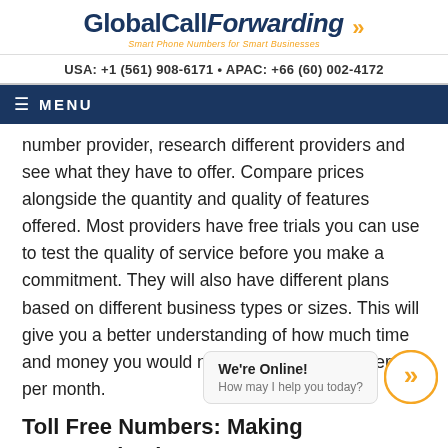GlobalCallForwarding – Smart Phone Numbers for Smart Businesses
USA: +1 (561) 908-6171 • APAC: +66 (60) 002-4172
≡ MENU
number provider, research different providers and see what they have to offer. Compare prices alongside the quantity and quality of features offered. Most providers have free trials you can use to test the quality of service before you make a commitment. They will also have different plans based on different business types or sizes. This will give you a better understanding of how much time and money you would need to spend on the service per month.
We're Online! How may I help you today?
Toll Free Numbers: Making Communication